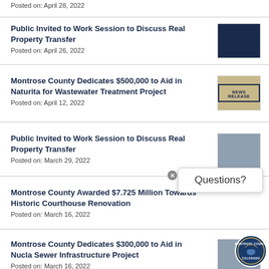Posted on: April 28, 2022
Public Invited to Work Session to Discuss Real Property Transfer
Posted on: April 26, 2022
Montrose County Dedicates $500,000 to Aid in Naturita for Wastewater Treatment Project
Posted on: April 12, 2022
Public Invited to Work Session to Discuss Real Property Transfer
Posted on: March 29, 2022
Montrose County Awarded $7.725 Million Towards Historic Courthouse Renovation
Posted on: March 16, 2022
Montrose County Dedicates $300,000 to Aid in Nucla Sewer Infrastructure Project
Posted on: March 16, 2022